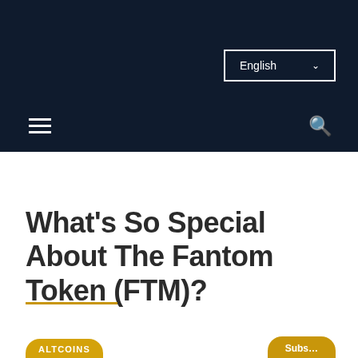English
What’s So Special About The Fantom Token (FTM)?
ALTCOINS